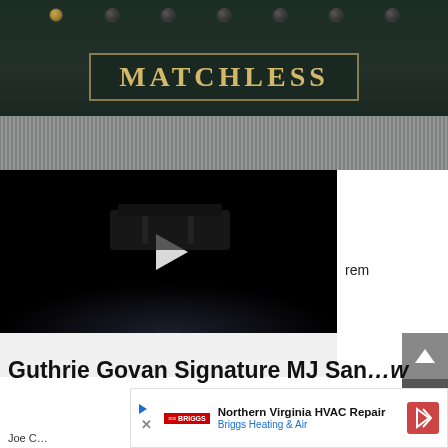[Figure (photo): Photo of a Matchless guitar amplifier head showing the nameplate with gold letters spelling MATCHLESS on dark green/black tolex, with knobs on top and speaker grille cloth visible at the bottom.]
[Figure (screenshot): Video player with black background showing a dark image of what appears to be a guitar pedal, with a white play button triangle in the center.]
rem
Guthrie Govan Signature MJ San...w
[Figure (other): Advertisement overlay: Northern Virginia HVAC Repair - Briggs Heating & Air, with Briggs logo, navigation arrow icon, play/close controls.]
Joe C...  4, 2022